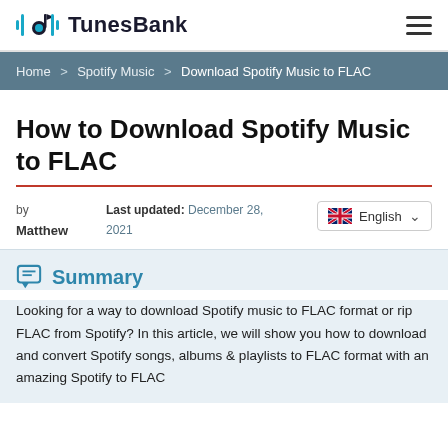TunesBank
Home > Spotify Music > Download Spotify Music to FLAC
How to Download Spotify Music to FLAC
by Matthew   Last updated: December 28, 2021
Summary
Looking for a way to download Spotify music to FLAC format or rip FLAC from Spotify? In this article, we will show you how to download and convert Spotify songs, albums & playlists to FLAC format with an amazing Spotify to FLAC